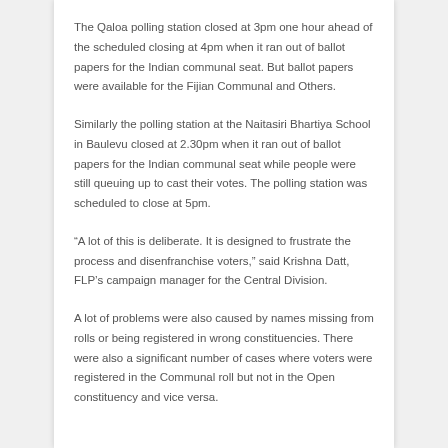The Qaloa polling station closed at 3pm one hour ahead of the scheduled closing at 4pm when it ran out of ballot papers for the Indian communal seat. But ballot papers were available for the Fijian Communal and Others.
Similarly the polling station at the Naitasiri Bhartiya School in Baulevu closed at 2.30pm when it ran out of ballot papers for the Indian communal seat while people were still queuing up to cast their votes. The polling station was scheduled to close at 5pm.
“A lot of this is deliberate. It is designed to frustrate the process and disenfranchise voters,” said Krishna Datt, FLP’s campaign manager for the Central Division.
A lot of problems were also caused by names missing from rolls or being registered in wrong constituencies. There were also a significant number of cases where voters were registered in the Communal roll but not in the Open constituency and vice versa.